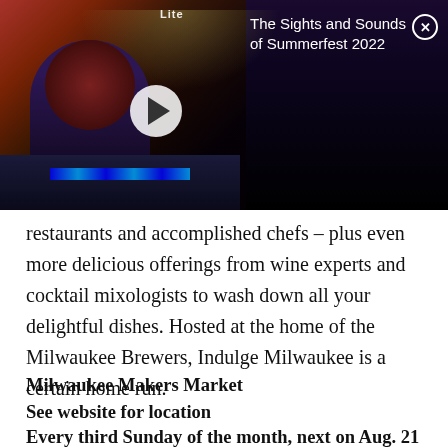[Figure (photo): Video thumbnail showing a person at a mixing console at a concert/festival with stage lights and crowd in background. Overlay shows play button and title 'The Sights and Sounds of Summerfest 2022' with a close (X) button.]
restaurants and accomplished chefs – plus even more delicious offerings from wine experts and cocktail mixologists to wash down all your delightful dishes. Hosted at the home of the Milwaukee Brewers, Indulge Milwaukee is a certain home run.
Milwaukee Makers Market
See website for location
Every third Sunday of the month, next on Aug. 21